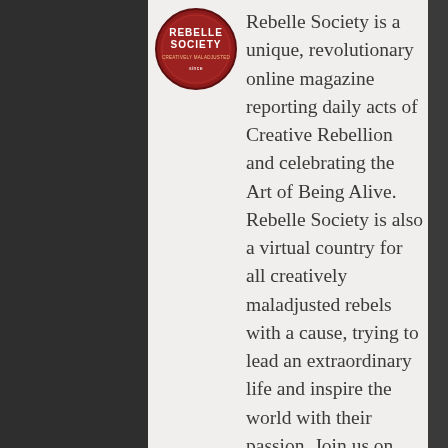[Figure (logo): Rebelle Society circular logo — red circle with white text 'REBELLE SOCIETY' and tagline]
Rebelle Society is a unique, revolutionary online magazine reporting daily acts of Creative Rebellion and celebrating the Art of Being Alive. Rebelle Society is also a virtual country for all creatively maladjusted rebels with a cause, trying to lead an extraordinary life and inspire the world with their passion. Join us on Facebook, Instagram & Twitter for daily bites of Creative Rebellion. Join our Rebelle Insider List along with over 40k Dreamers & Doers around the world for FREE...